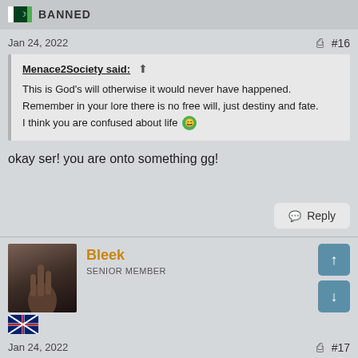BANNED
Jan 24, 2022  ⬆  #16
Menace2Society said: ↑

This is God's will otherwise it would never have happened. Remember in your lore there is no free will, just destiny and fate. I think you are confused about life 😄
okay ser! you are onto something gg!
Reply
Bleek
SENIOR MEMBER
Jan 24, 2022  ⬆  #17